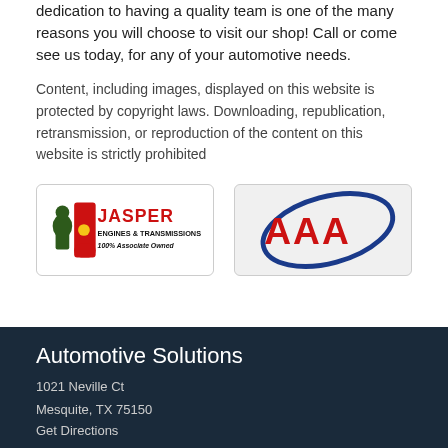dedication to having a quality team is one of the many reasons you will choose to visit our shop!  Call or come see us today, for any of your automotive needs.
Content, including images, displayed on this website is protected by copyright laws. Downloading, republication, retransmission, or reproduction of the content on this website is strictly prohibited
[Figure (logo): Jasper Engines & Transmissions logo - 100% Associate Owned]
[Figure (logo): AAA logo with red triple-A and blue oval swoosh]
Automotive Solutions
1021 Neville Ct
Mesquite, TX 75150
Get Directions